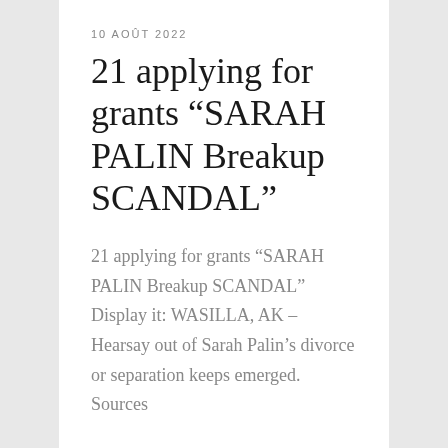10 AOÛT 2022
21 applying for grants “SARAH PALIN Breakup SCANDAL”
21 applying for grants “SARAH PALIN Breakup SCANDAL” Display it: WASILLA, AK – Hearsay out of Sarah Palin’s divorce or separation keeps emerged. Sources